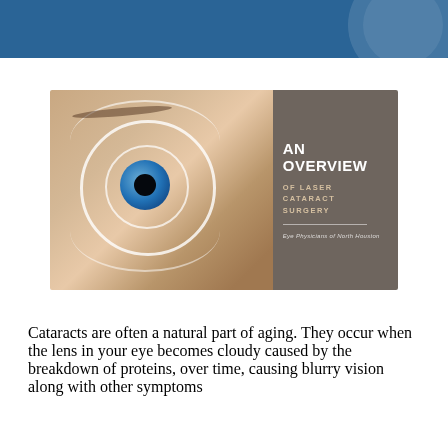[Figure (illustration): Close-up photo of a woman's eye with circular lens targeting rings overlaid, beside a dark taupe panel reading 'AN OVERVIEW OF LASER CATARACT SURGERY' by Eye Physicians of North Houston]
Cataracts are often a natural part of aging. They occur when the lens in your eye becomes cloudy caused by the breakdown of proteins, over time, causing blurry vision along with other symptoms